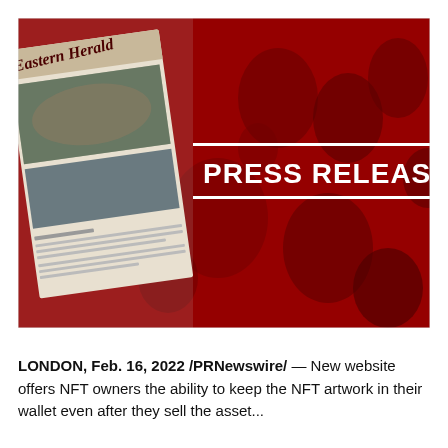[Figure (photo): Press release banner image. Left half shows a newspaper (Eastern Herald) laid out on a surface. Right half shows a dark red/crimson background with a crowd of people with red tones. In the center-right area, bold white text reads 'PRESS RELEASE' with white horizontal lines above and below the text.]
LONDON, Feb. 16, 2022 /PRNewswire/ — New website offers NFT owners the ability to keep the NFT artwork in their wallet even after they sell the asset...